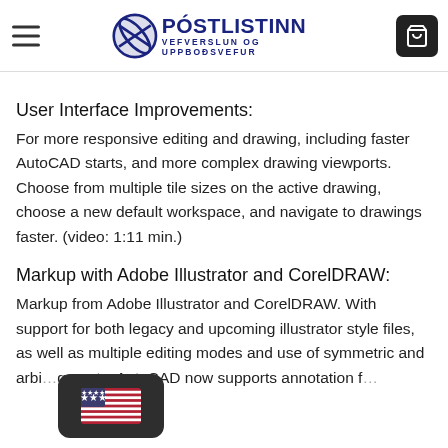write notes, sketches, and plan changes. Control your walls moving the cursor... (video: 2 min.)
[Figure (logo): Póstlistinn logo — stylized pen/disk icon in navy blue with text PÓSTLISTINN and VEFVERSLUN OG UPPBOÐSVEFUR]
[Figure (infographic): Shopping cart icon in white on dark background — navigation cart button]
User Interface Improvements:
For more responsive editing and drawing, including faster AutoCAD starts, and more complex drawing viewports. Choose from multiple tile sizes on the active drawing, choose a new default workspace, and navigate to drawings faster. (video: 1:11 min.)
Markup with Adobe Illustrator and CorelDRAW:
Markup from Adobe Illustrator and CorelDRAW. With support for both legacy and upcoming illustrator style files, as well as multiple editing modes and use of symmetric and arbi…gments, AutoCAD now supports annotation f… …and CAD…
[Figure (illustration): US flag emoji in rounded dark rectangle overlay at bottom left corner]